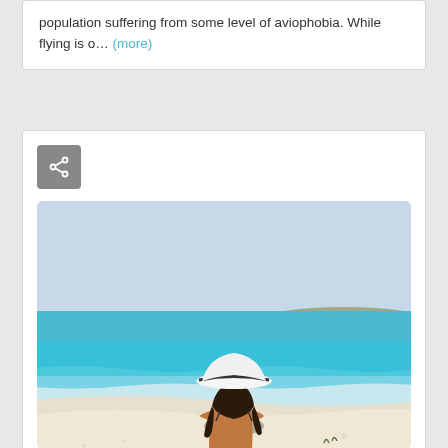population suffering from some level of aviophobia. While flying is o… (more)
[Figure (photo): Woman with white hat sitting on white sandy beach, viewed from behind, with turquoise ocean and distant island in background]
Choose Your Vacation…